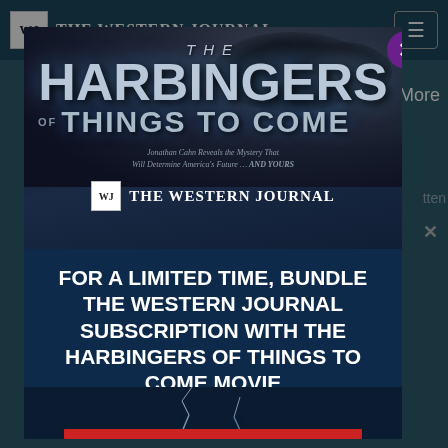WJ THE WESTERN JOURNAL
[Figure (screenshot): Modal advertisement popup for 'The Harbingers of Things to Come' movie, overlaid on The Western Journal website. The modal shows the movie title in large metallic text against a dramatic dark sky background with smoke clouds. Below the title text reads: 'Jonathan Cahn Reveals the Mystery That Will Determine America's Future ... AND YOURS'. The Western Journal logo is shown. Promotional text reads: 'FOR A LIMITED TIME, BUNDLE THE WESTERN JOURNAL SUBSCRIPTION WITH THE HARBINGERS OF THINGS TO COME MOVIE'. A purple close button (X) appears at top-right of modal. Lightning is visible at the bottom.]
FOR A LIMITED TIME, BUNDLE THE WESTERN JOURNAL SUBSCRIPTION WITH THE HARBINGERS OF THINGS TO COME MOVIE